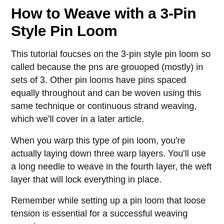How to Weave with a 3-Pin Style Pin Loom
This tutorial foucses on the 3-pin style pin loom so called because the pns are grouoped (mostly) in sets of 3. Other pin looms have pins spaced equally throughout and can be woven using this same technique or continuous strand weaving, which we'll cover in a later article.
When you warp this type of pin loom, you're actually laying down three warp layers. You'll use a long needle to weave in the fourth layer, the weft layer that will lock everything in place.
Remember while setting up a pin loom that loose tension is essential for a successful weaving experience.